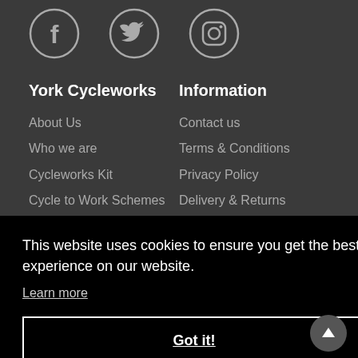[Figure (illustration): Social media icons: Facebook (f), Twitter (bird), Instagram (camera in circle), shown as outlined circle icons on dark background]
York Cycleworks
Information
About Us
Who we are
Cycleworks Kit
Cycle to Work Schemes
Contact us
Terms & Conditions
Privacy Policy
Delivery & Returns
This website uses cookies to ensure you get the best experience on our website.
Learn more
Got it!